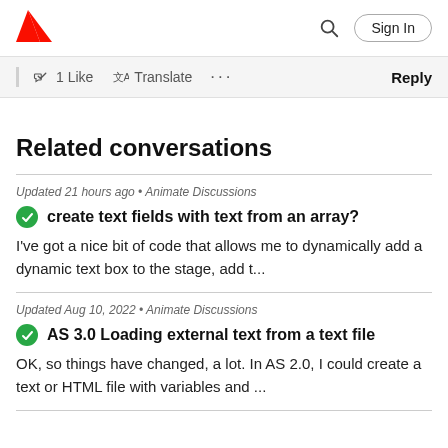Adobe | Search | Sign In
1 Like  Translate  ...  Reply
Related conversations
Updated 21 hours ago • Animate Discussions
create text fields with text from an array?
I've got a nice bit of code that allows me to dynamically add a dynamic text box to the stage, add t...
Updated Aug 10, 2022 • Animate Discussions
AS 3.0 Loading external text from a text file
OK, so things have changed, a lot. In AS 2.0, I could create a text or HTML file with variables and ...